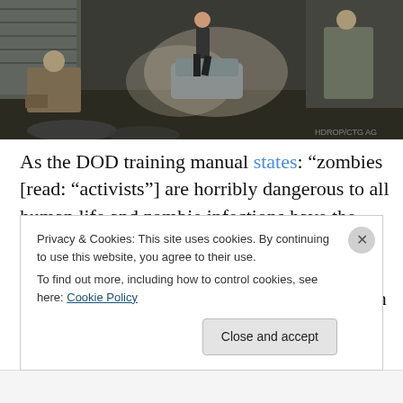[Figure (photo): Screenshot from a video game or film showing soldiers/armed figures in tactical gear in a smoky street scene with a car in the background]
As the DOD training manual states: “zombies [read: “activists”] are horribly dangerous to all human life and zombie infections have the potential to seriously undermine national security and economic activities that sustain our way of life. Therefore having a population that
Privacy & Cookies: This site uses cookies. By continuing to use this website, you agree to their use.
To find out more, including how to control cookies, see here: Cookie Policy
Close and accept